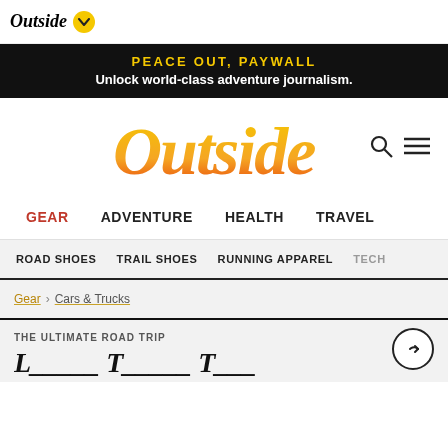Outside
PEACE OUT, PAYWALL
Unlock world-class adventure journalism.
[Figure (logo): Outside magazine logo in large gold/orange italic script]
GEAR
ADVENTURE
HEALTH
TRAVEL
ROAD SHOES
TRAIL SHOES
RUNNING APPAREL
TECH
Gear > Cars & Trucks
THE ULTIMATE ROAD TRIP